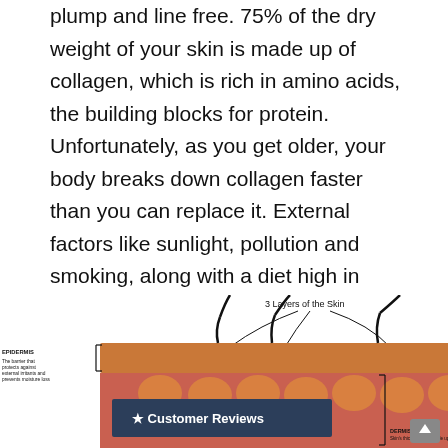plump and line free. 75% of the dry weight of your skin is made up of collagen, which is rich in amino acids, the building blocks for protein. Unfortunately, as you get older, your body breaks down collagen faster than you can replace it. External factors like sunlight, pollution and smoking, along with a diet high in sugar and refined carbohydrates, can accelerate its decline and impair its repair.
[Figure (illustration): Cross-sectional diagram titled '3 Layers of the Skin' showing an orange/brown skin block with hair follicles. Labels indicate EPIDERMIS ('The barrier that protects against external irritants and prevents moisture loss') on the left and DERMIS ('Skin's thickest layer, made up of...') at bottom right. A dark navy banner overlaid reads '★ Customer Reviews'. A grey scroll-to-top button appears at bottom right.]